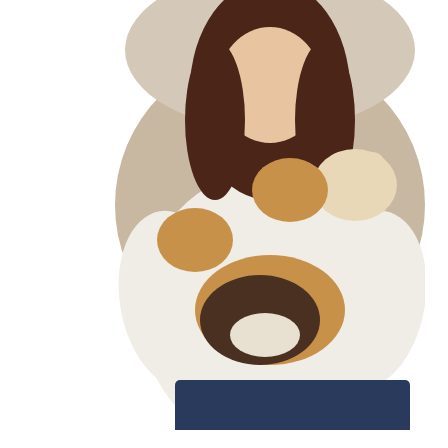[Figure (photo): Circular cropped photo of a woman in a white sweater holding four small chihuahua dogs, sitting in a light beige chair. The image is cropped in a circle shape.]
debt free... Your Fi...
To learn... below. K...
[Figure (screenshot): Navigation bar with lavender/light pink background containing two buttons: HOME and ABOUT ME, with rounded rectangle borders.]
Decorating Your H...
Wednesday, September 19,